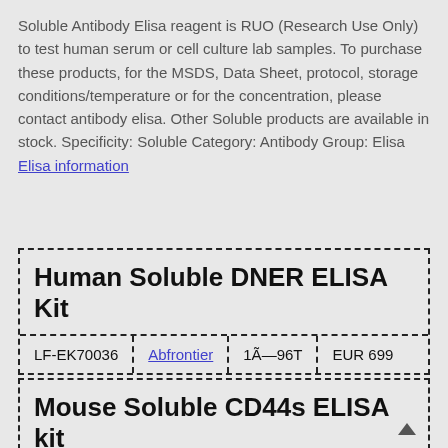Soluble Antibody Elisa reagent is RUO (Research Use Only) to test human serum or cell culture lab samples. To purchase these products, for the MSDS, Data Sheet, protocol, storage conditions/temperature or for the concentration, please contact antibody elisa. Other Soluble products are available in stock. Specificity: Soluble Category: Antibody Group: Elisa
Elisa information
| Product Name | Catalog | Supplier | Size | Price |
| --- | --- | --- | --- | --- |
| Human Soluble DNER ELISA Kit | LF-EK70036 | Abfrontier | 1Ã—96T | EUR 699 |
Mouse Soluble CD44s ELISA kit